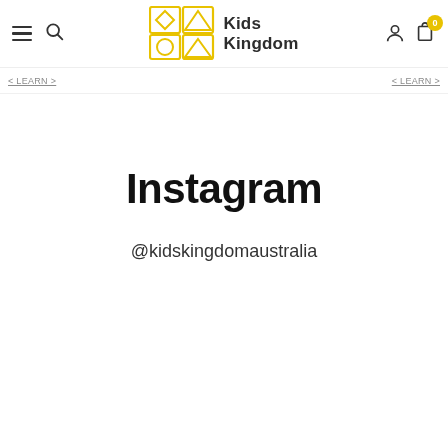[Figure (logo): Kids Kingdom logo with geometric shapes (diamond, circle, triangle) and text 'Kids Kingdom']
Instagram
@kidskingdomaustralia